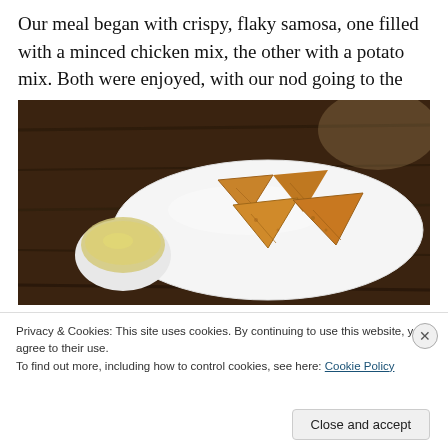Our meal began with crispy, flaky samosa, one filled with a minced chicken mix, the other with a potato mix. Both were enjoyed, with our nod going to the chicken version.
[Figure (photo): A white oval plate with four golden-brown crispy triangular samosas arranged on it, with a small white dipping sauce bowl on the left side, set on a dark wooden table.]
Privacy & Cookies: This site uses cookies. By continuing to use this website, you agree to their use.
To find out more, including how to control cookies, see here: Cookie Policy
Close and accept